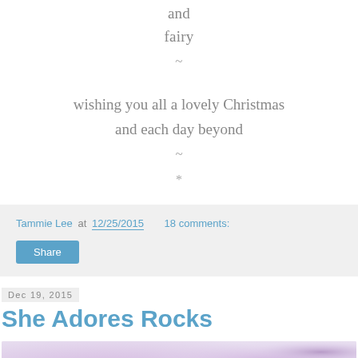and
fairy
~
wishing you all a lovely Christmas
and each day beyond
~
*
Tammie Lee at 12/25/2015   18 comments:
Share
Dec 19, 2015
She Adores Rocks
[Figure (illustration): A purple/lavender watercolor wash background with a faint line drawing of an animal (possibly a unicorn or horse) in the lower right area.]